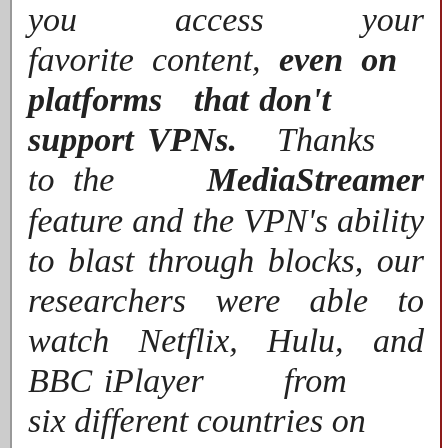you access your favorite content, even on platforms that don't support VPNs. Thanks to the MediaStreamer feature and the VPN's ability to blast through blocks, our researchers were able to watch Netflix, Hulu, and BBC iPlayer from six different countries on